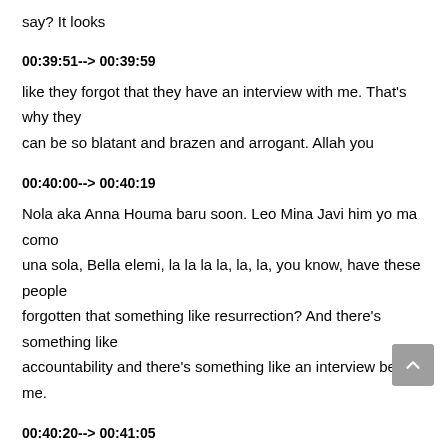say? It looks
00:39:51--> 00:39:59
like they forgot that they have an interview with me. That's why they can be so blatant and brazen and arrogant. Allah you
00:40:00--> 00:40:19
Nola aka Anna Houma baru soon. Leo Mina Javi him yo ma como una sola, Bella elemi, la la la la, la, la, you know, have these people forgotten that something like resurrection? And there's something like accountability and there's something like an interview before me.
00:40:20--> 00:41:05
So there's so many of our crimes we don't even know. And and I need to know I have an illness for me to seek treatment and for me to avoid